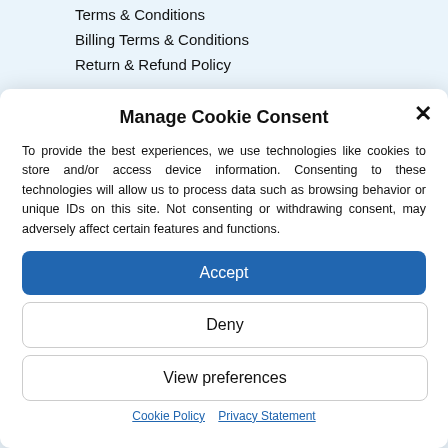Terms & Conditions
Billing Terms & Conditions
Return & Refund Policy
Manage Cookie Consent
To provide the best experiences, we use technologies like cookies to store and/or access device information. Consenting to these technologies will allow us to process data such as browsing behavior or unique IDs on this site. Not consenting or withdrawing consent, may adversely affect certain features and functions.
Accept
Deny
View preferences
Cookie Policy   Privacy Statement